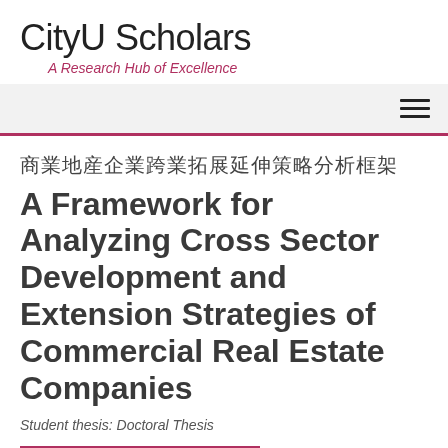CityU Scholars
A Research Hub of Excellence
A Framework for Analyzing Cross Sector Development and Extension Strategies of Commercial Real Estate Companies
Student thesis: Doctoral Thesis
Overview